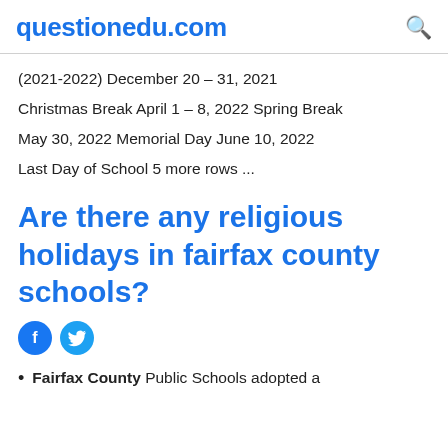questionedu.com
(2021-2022) December 20 – 31, 2021
Christmas Break April 1 – 8, 2022 Spring Break
May 30, 2022 Memorial Day June 10, 2022
Last Day of School 5 more rows ...
Are there any religious holidays in fairfax county schools?
Fairfax County Public Schools adopted a